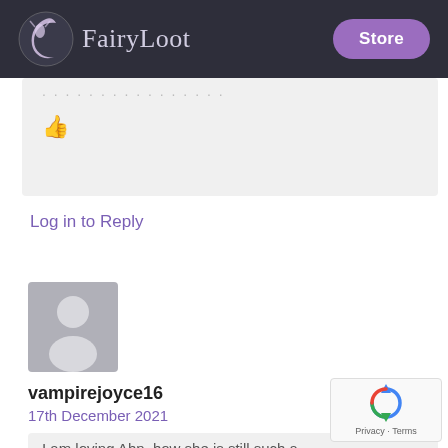FairyLoot — Store
[Figure (screenshot): Clipped top of a user comment box with a thumbs up reaction icon in pink/salmon color]
Log in to Reply
[Figure (photo): Default grey avatar silhouette for user vampirejoyce16]
vampirejoyce16
17th December 2021
I am loving Ahn, how she is still such a